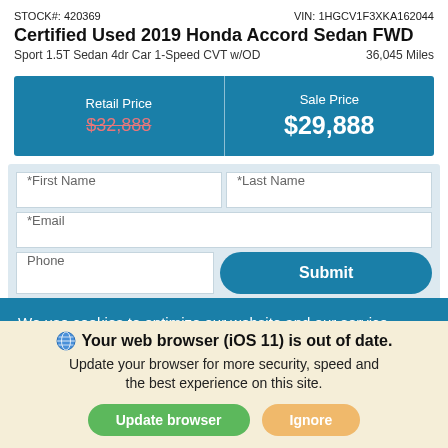STOCK#: 420369    VIN: 1HGCV1F3XKA162044
Certified Used 2019 Honda Accord Sedan FWD
Sport 1.5T Sedan 4dr Car 1-Speed CVT w/OD    36,045 Miles
| Retail Price | Sale Price |
| --- | --- |
| $32,888 (strikethrough) | $29,888 |
*First Name
*Last Name
*Email
Phone
Submit
All with no impact to your credit score.
We use cookies to optimize our website and our service.
Cookie Policy · Privacy Statement
Your web browser (iOS 11) is out of date.
Update your browser for more security, speed and the best experience on this site.
Update browser
Ignore